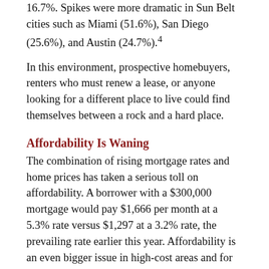16.7%. Spikes were more dramatic in Sun Belt cities such as Miami (51.6%), San Diego (25.6%), and Austin (24.7%).⁴
In this environment, prospective homebuyers, renters who must renew a lease, or anyone looking for a different place to live could find themselves between a rock and a hard place.
Affordability Is Waning
The combination of rising mortgage rates and home prices has taken a serious toll on affordability. A borrower with a $300,000 mortgage would pay $1,666 per month at a 5.3% rate versus $1,297 at a 3.2% rate, the prevailing rate earlier this year. Affordability is an even bigger issue in high-cost areas and for first-time buyers who haven't benefited from gains in home equity.
Borrowers who started a home search and were prequalified by a lender before rates spiked may not be approved for the mortgages they initially sought. Consequently, demand for adjustable-rate mortgages (ARMs) that offer lower rates has surged in recent months.⁵ A lower monthly payment makes it possible to qualify for a larger mortgage, so borrowers who